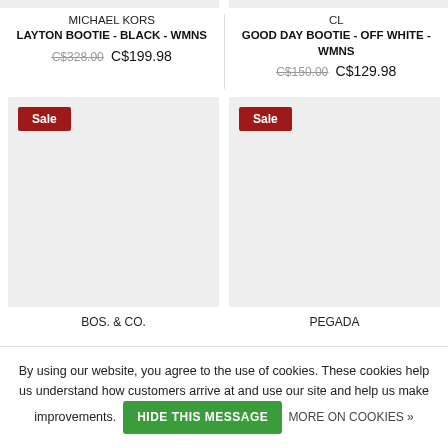MICHAEL KORS
LAYTON BOOTIE - BLACK - WMNS
C$328.00  C$199.98
CL
GOOD DAY BOOTIE - OFF WHITE - WMNS
C$150.00  C$129.98
[Figure (photo): Product image placeholder with Sale badge, BOS. & CO. brand]
BOS. & CO.
[Figure (photo): Product image placeholder with Sale badge, PEGADA brand]
PEGADA
By using our website, you agree to the use of cookies. These cookies help us understand how customers arrive at and use our site and help us make improvements.
HIDE THIS MESSAGE
MORE ON COOKIES »